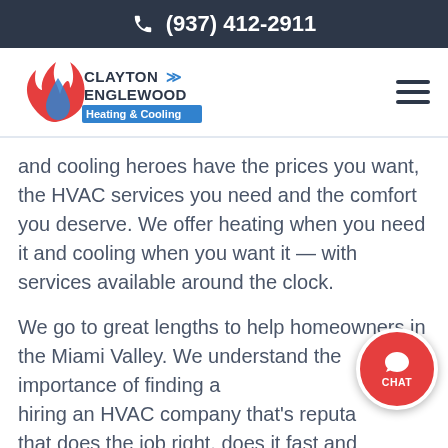📞 (937) 412-2911
[Figure (logo): Clayton Englewood Heating & Cooling logo with flame and water droplet icon]
and cooling heroes have the prices you want, the HVAC services you need and the comfort you deserve. We offer heating when you need it and cooling when you want it — with services available around the clock.
We go to great lengths to help homeowners in the Miami Valley. We understand the importance of finding and hiring an HVAC company that's reputable, that does the job right, does it fast and does it at friendly and affordable prices